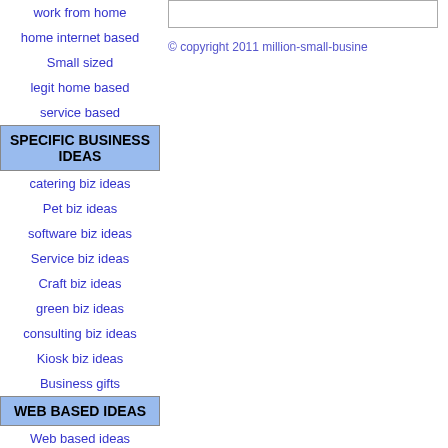work from home
home internet based
Small sized
legit home based
service based
SPECIFIC BUSINESS IDEAS
catering biz ideas
Pet biz ideas
software biz ideas
Service biz ideas
Craft biz ideas
green biz ideas
consulting biz ideas
Kiosk biz ideas
Business gifts
WEB BASED IDEAS
Web based ideas
© copyright 2011 million-small-busine...